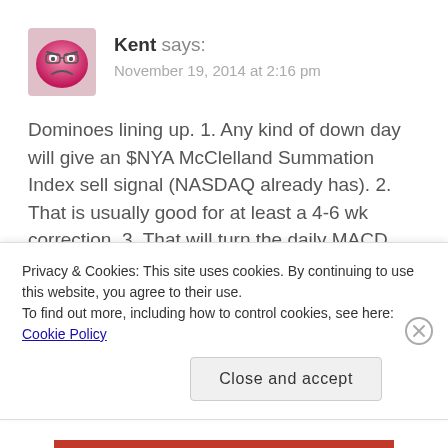Kent says: November 19, 2014 at 2:16 pm
Dominoes lining up. 1. Any kind of down day will give an $NYA McClelland Summation Index sell signal (NASDAQ already has). 2. That is usually good for at least a 4-6 wk correction. 3. That will turn the daily MACD down from a high level which will turn the weeky back down and continue its downtrend. 4. That will turn the monthly
Privacy & Cookies: This site uses cookies. By continuing to use this website, you agree to their use.
To find out more, including how to control cookies, see here: Cookie Policy
Close and accept